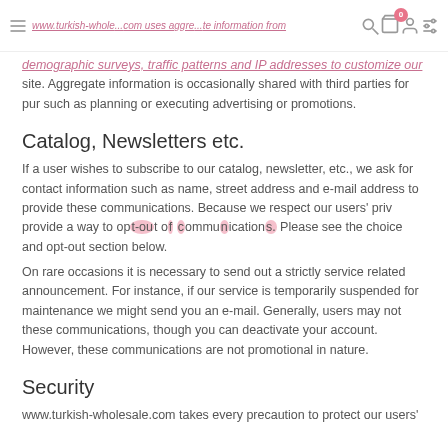www.turkish-wholesale.com uses aggregate information from demographic surveys, traffic patterns and IP addresses to customize our site. [navigation icons]
www.turkish-wholesale.com uses aggregate information from demographic surveys, traffic patterns and IP addresses to customize our site. Aggregate information is occasionally shared with third parties for pur such as planning or executing advertising or promotions.
Catalog, Newsletters etc.
If a user wishes to subscribe to our catalog, newsletter, etc., we ask for contact information such as name, street address and e-mail address to provide these communications. Because we respect our users' priv provide a way to opt-out of these communications. Please see the choice and opt-out section below.
On rare occasions it is necessary to send out a strictly service related announcement. For instance, if our service is temporarily suspended for maintenance we might send you an e-mail. Generally, users may not these communications, though you can deactivate your account. However, these communications are not promotional in nature.
Security
www.turkish-wholesale.com takes every precaution to protect our users'